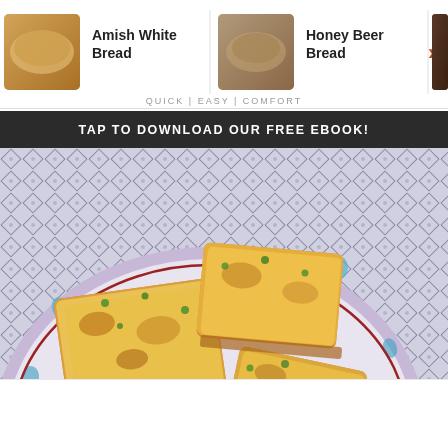[Figure (screenshot): Top carousel strip showing bread recipe thumbnails: Amish White Bread, Honey Beer Bread, Chocolate Banana Bread with right arrow navigation]
QUICK | EASY | COMFORT
TAP TO DOWNLOAD OUR FREE EBOOK!
[Figure (photo): Overhead photo of cheesy baked bread squares on a decorative blue and white patterned plate, with green herb garnish, on a patterned tablecloth, with a wooden cutting board visible]
91
[Figure (other): White circular up-arrow button]
[Figure (other): White circular heart/favorite button]
[Figure (other): Brown circular search/magnify button]